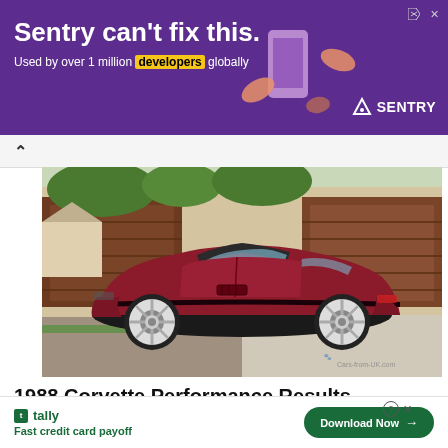[Figure (infographic): Purple Sentry ad banner. Text: 'Sentry can't fix this.' and 'Used by over 1 million developers globally'. Sentry logo on right. Decorative illustration of hands/devices on right side.]
[Figure (photo): 1988 Chevrolet Corvette C4 targa, dark red/maroon color, side profile view, parked in front of brown garage doors on a driveway. White alloy wheels. Watermark: Cars-from-UK.com]
1988 Corvette Performance Results
[Figure (infographic): Tally app bottom ad banner. Tally logo, 'Fast credit card payoff' text, and 'Download Now' green button. Help/close icons in top right.]